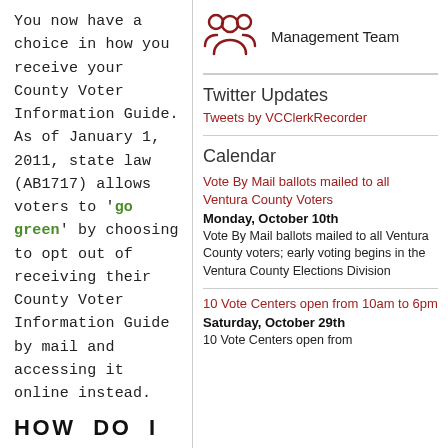You now have a choice in how you receive your County Voter Information Guide. As of January 1, 2011, state law (AB1717) allows voters to 'go green' by choosing to opt out of receiving their County Voter Information Guide by mail and accessing it online instead.
HOW DO I
[Figure (illustration): Icon of a group of three people (management team icon) in dark red outline style]
Management Team
Twitter Updates
Tweets by VCClerkRecorder
Calendar
Vote By Mail ballots mailed to all Ventura County Voters
Monday, October 10th
Vote By Mail ballots mailed to all Ventura County voters; early voting begins in the Ventura County Elections Division
10 Vote Centers open from 10am to 6pm
Saturday, October 29th
10 Vote Centers open from